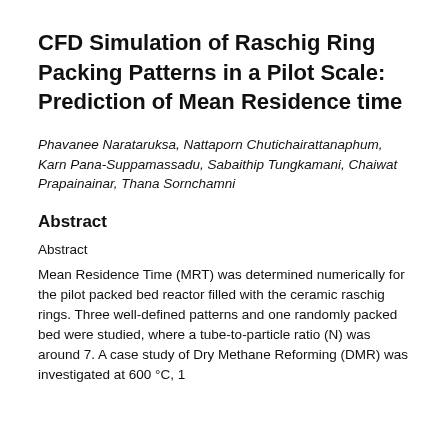CFD Simulation of Raschig Ring Packing Patterns in a Pilot Scale: Prediction of Mean Residence time
Phavanee Narataruksa, Nattaporn Chutichairattanaphum, Karn Pana-Suppamassadu, Sabaithip Tungkamani, Chaiwat Prapainainar, Thana Sornchamni
Abstract
Abstract
Mean Residence Time (MRT) was determined numerically for the pilot packed bed reactor filled with the ceramic raschig rings. Three well-defined patterns and one randomly packed bed were studied, where a tube-to-particle ratio (N) was around 7. A case study of Dry Methane Reforming (DMR) was investigated at 600 °C, 1